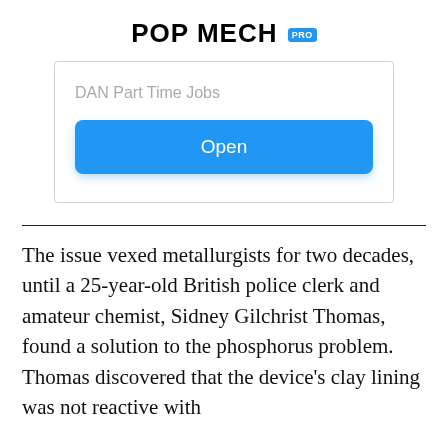POP MECH PRO
[Figure (screenshot): App promotion box with label 'DAN Part Time Jobs' and a blue 'Open' button]
The issue vexed metallurgists for two decades, until a 25-year-old British police clerk and amateur chemist, Sidney Gilchrist Thomas, found a solution to the phosphorus problem. Thomas discovered that the device's clay lining was not reactive with